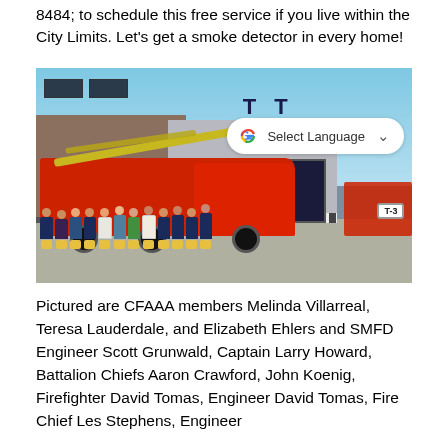8484; to schedule this free service if you live within the City Limits. Let's get a smoke detector in every home!
[Figure (photo): Group photo of CFAAA members and SMFD firefighters standing in front of a red fire engine (ladder truck) at a fire station, each holding smoke detector packages. A Google Translate 'Select Language' overlay appears in the upper right of the image.]
Pictured are CFAAA members Melinda Villarreal, Teresa Lauderdale, and Elizabeth Ehlers and SMFD Engineer Scott Grunwald, Captain Larry Howard, Battalion Chiefs Aaron Crawford, John Koenig, Firefighter David Tomas, Engineer David Tomas, Fire Chief Les Stephens, Engineer